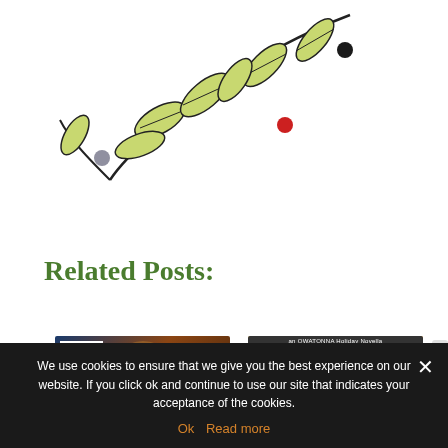[Figure (illustration): Decorative holly branch illustration with yellow-green leaves and colored berries (grey, red, black) on a white background]
Related Posts:
[Figure (illustration): Book cover for 'The Lights on Knockbridge Lane' (Harlequin Special Edition) with Christmas lights on a barn, overlaid with red banner text 'Excerpt: The Lights on Knockbridge']
[Figure (illustration): Book cover for 'Christmas Lights' (an Owatonna Holiday Novella) with sunset and Christmas light imagery, overlaid with red banner text 'Review: Christmas']
We use cookies to ensure that we give you the best experience on our website. If you click ok and continue to use our site that indicates your acceptance of the cookies.
Ok   Read more